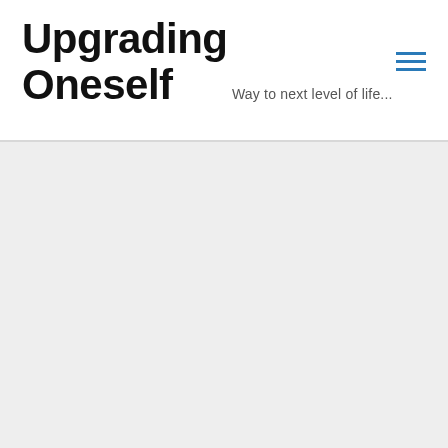Upgrading Oneself
Way to next level of life...